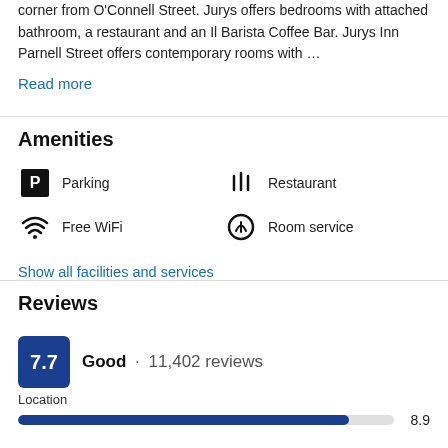corner from O'Connell Street. Jurys offers bedrooms with attached bathroom, a restaurant and an Il Barista Coffee Bar. Jurys Inn Parnell Street offers contemporary rooms with …
Read more
Amenities
Parking
Restaurant
Free WiFi
Room service
Show all facilities and services
Reviews
7.7  Good · 11,402 reviews
Location
8.9